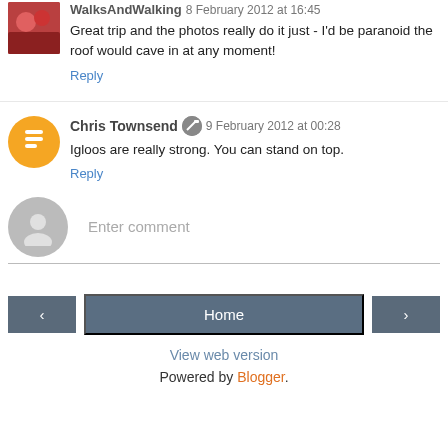WalksAndWalking 8 February 2012 at 16:45 — Great trip and the photos really do it just - I'd be paranoid the roof would cave in at any moment! Reply
Chris Townsend 9 February 2012 at 00:28 — Igloos are really strong. You can stand on top. Reply
Enter comment
Home | < | >
View web version
Powered by Blogger.